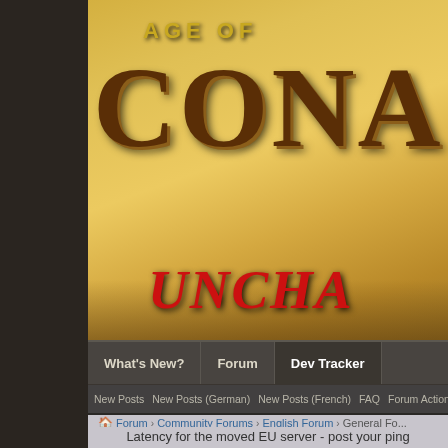[Figure (screenshot): Age of Conan Unchained game forum website header banner with logo text on sandy desert background]
What's New?   Forum   Dev Tracker
New Posts   New Posts (German)   New Posts (French)   FAQ   Forum Actions
Forum > Community Forums > English Forum > General Fo...
Latency for the moved EU server - post your ping
These Forums are now closed. Please check out the ne...
Page 16 of 17
Thread: Latency for the moved EU server - post your ping